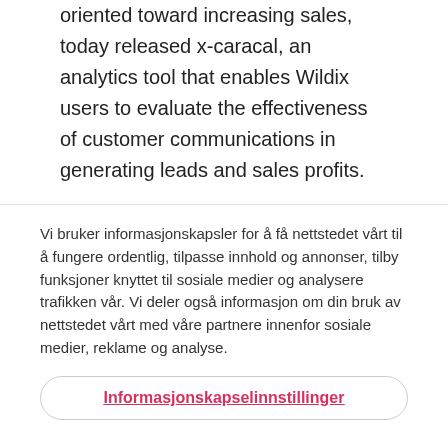oriented toward increasing sales, today released x-caracal, an analytics tool that enables Wildix users to evaluate the effectiveness of customer communications in generating leads and sales profits.
Vi bruker informasjonskapsler for å få nettstedet vårt til å fungere ordentlig, tilpasse innhold og annonser, tilby funksjoner knyttet til sosiale medier og analysere trafikken vår. Vi deler også informasjon om din bruk av nettstedet vårt med våre partnere innenfor sosiale medier, reklame og analyse.
Informasjonskapselinnstillinger